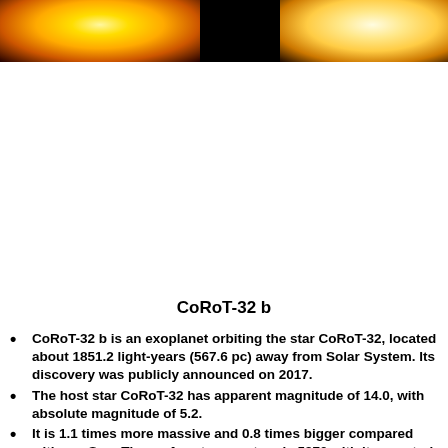[Figure (photo): Composite image bar showing two star/sun photographs against a black background. Left image shows a fiery orange-yellow star, right shows a pale yellow star, separated by black space.]
CoRoT-32 b
CoRoT-32 b is an exoplanet orbiting the star CoRoT-32, located about 1851.2 light-years (567.6 pc) away from Solar System. Its discovery was publicly announced on 2017.
The host star CoRoT-32 has apparent magnitude of 14.0, with absolute magnitude of 5.2.
It is 1.1 times more massive and 0.8 times bigger compared with our Sun. The surface temperature is 5970 with its spectral types of G0VI
In this planetary system, the extrasolar planet CoRoT-32 b orbits around the star CoRoT-32 every 6.7 days with its orbital